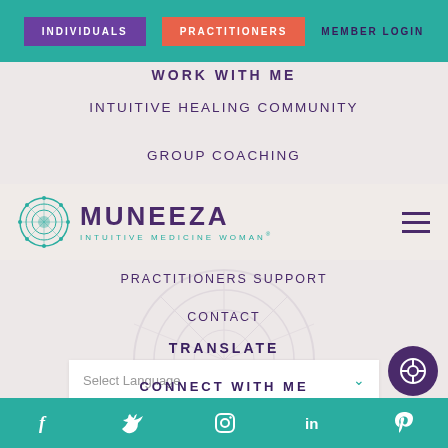INDIVIDUALS | PRACTITIONERS | MEMBER LOGIN
WORK WITH ME
INTUITIVE HEALING COMMUNITY
GROUP COACHING
[Figure (logo): Muneeza Intuitive Medicine Woman logo with teal mandala icon and purple text]
PRACTITIONERS SUPPORT
CONTACT
TRANSLATE
Select Language
CONNECT WITH ME
Social media icons: Facebook, Twitter, Instagram, LinkedIn, Pinterest